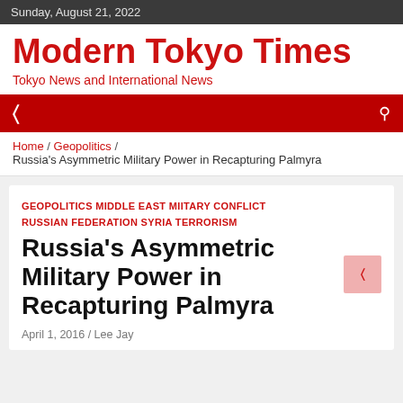Sunday, August 21, 2022
Modern Tokyo Times
Tokyo News and International News
Home / Geopolitics / Russia's Asymmetric Military Power in Recapturing Palmyra
GEOPOLITICS  MIDDLE EAST  MIITARY CONFLICT  RUSSIAN FEDERATION  SYRIA  TERRORISM
Russia's Asymmetric Military Power in Recapturing Palmyra
April 1, 2016 / Lee Jay